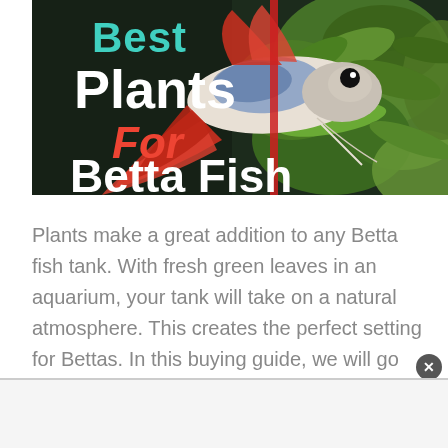[Figure (photo): Photo of a colorful betta fish (white, red, blue patterned) swimming against a background of green aquatic plants, with overlaid text reading 'Best Plants For Betta Fish' in teal, white, and red lettering.]
Plants make a great addition to any Betta fish tank. With fresh green leaves in an aquarium, your tank will take on a natural atmosphere. This creates the perfect setting for Bettas. In this buying guide, we will go over both live and fake plants. This way you can find the